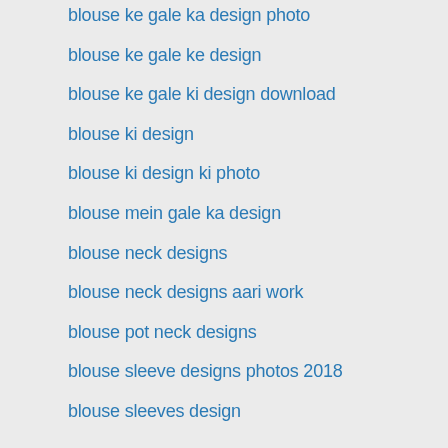blouse ke gale ka design photo
blouse ke gale ke design
blouse ke gale ki design download
blouse ki design
blouse ki design ki photo
blouse mein gale ka design
blouse neck designs
blouse neck designs aari work
blouse pot neck designs
blouse sleeve designs photos 2018
blouse sleeves design